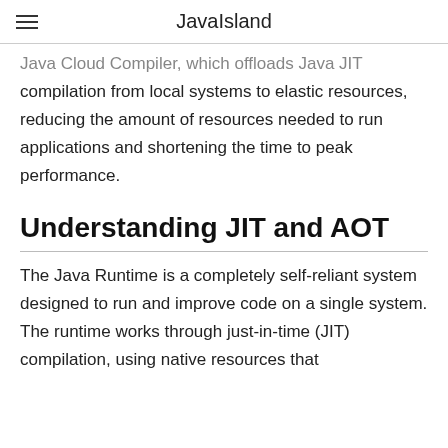JavaIsland
Java Cloud Compiler, which offloads Java JIT compilation from local systems to elastic resources, reducing the amount of resources needed to run applications and shortening the time to peak performance.
Understanding JIT and AOT
The Java Runtime is a completely self-reliant system designed to run and improve code on a single system. The runtime works through just-in-time (JIT) compilation, using native resources that